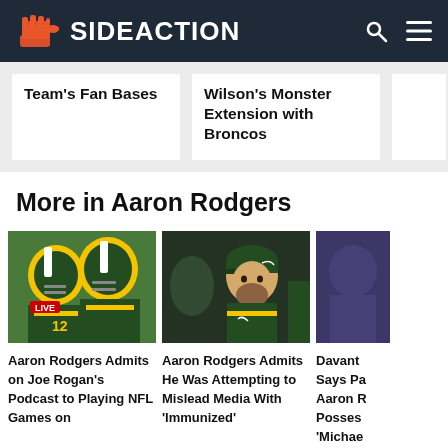SIDEACTION
Team's Fan Bases
Wilson's Monster Extension with Broncos
More in Aaron Rodgers
[Figure (photo): Two Green Bay Packers players in yellow helmets embracing on the field]
[Figure (photo): Aaron Rodgers in Green Bay Packers green cap looking to the side]
[Figure (photo): Partial view of a player or coach in dark jersey]
Aaron Rodgers Admits on Joe Rogan's Podcast to Playing NFL Games on
Aaron Rodgers Admits He Was Attempting to Mislead Media With 'Immunized'
Davant Says Pa Aaron R Posses 'Michae